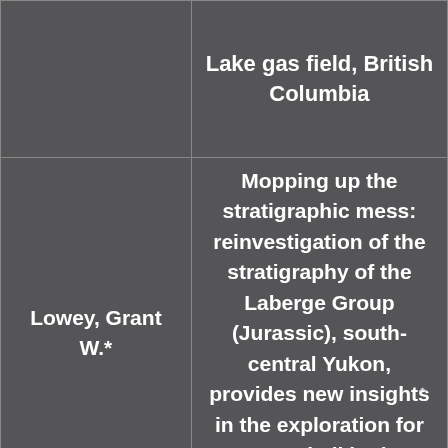|  | Lake gas field, British Columbia |
| Lowey, Grant W.* | Mopping up the stratigraphic mess: reinvestigation of the stratigraphy of the Laberge Group (Jurassic), south-central Yukon, provides new insights in the exploration for gas and oil in the Whitehorse Trough |